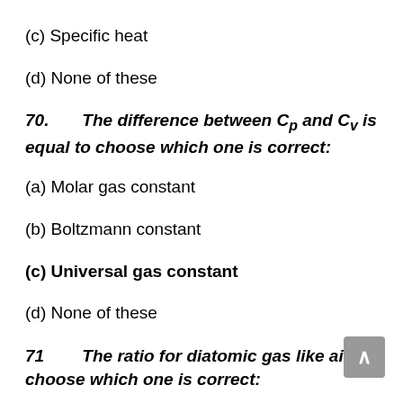(c) Specific heat
(d) None of these
70.      The difference between Cp and Cy is equal to choose which one is correct:
(a) Molar gas constant
(b) Boltzmann constant
(c) Universal gas constant
(d) None of these
71      The ratio for diatomic gas like air is choose which one is correct: